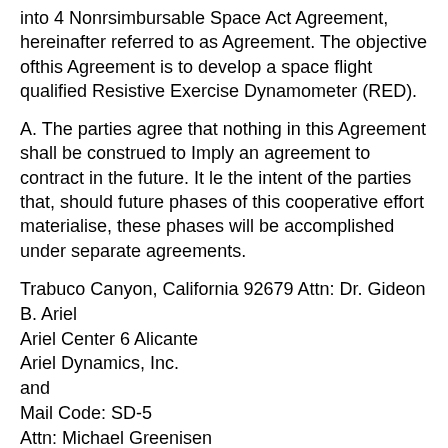into 4 Nonrsimbursable Space Act Agreement, hereinafter referred to as Agreement. The objective ofthis Agreement is to develop a space flight qualified Resistive Exercise Dynamometer (RED).
A. The parties agree that nothing in this Agreement shall be construed to Imply an agreement to contract in the future. It le the intent of the parties that, should future phases of this cooperative effort materialise, these phases will be accomplished under separate agreements.
Trabuco Canyon, California 92679 Attn: Dr. Gideon B. Ariel
Ariel Center 6 Alicante
Ariel Dynamics, Inc.
and
Mail Code: SD-5
Attn: Michael Greenisen
Houston, TX 77058
2101 NASA Road 1
National Aeronautics and Space
Administration Lyndon B. Johnson Space